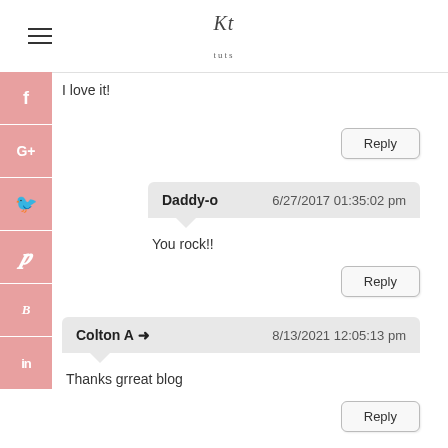Kt tuts
I love it!
Reply
Daddy-o   6/27/2017 01:35:02 pm
You rock!!
Reply
Colton A → 8/13/2021 12:05:13 pm
Thanks grreat blog
Reply